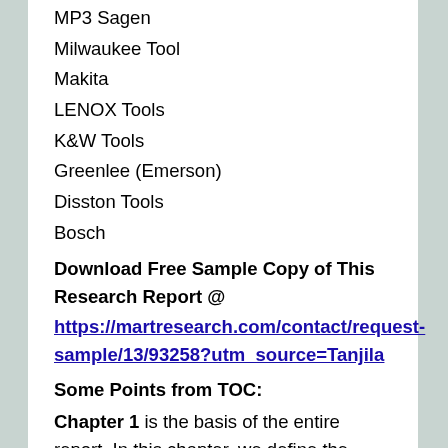MP3 Sagen
Milwaukee Tool
Makita
LENOX Tools
K&W Tools
Greenlee (Emerson)
Disston Tools
Bosch
Download Free Sample Copy of This Research Report @
https://martresearch.com/contact/request-sample/13/93258?utm_source=Tanjila
Some Points from TOC:
Chapter 1 is the basis of the entire report. In this chapter, we define the market concept and market